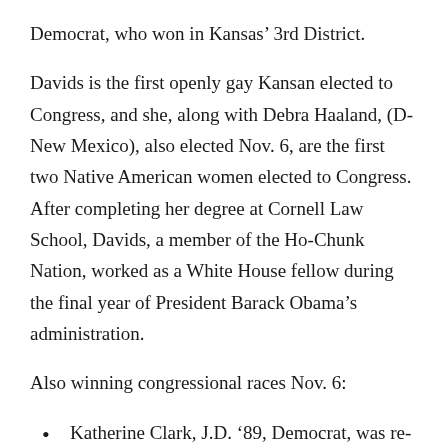Democrat, who won in Kansas’ 3rd District.
Davids is the first openly gay Kansan elected to Congress, and she, along with Debra Haaland, (D-New Mexico), also elected Nov. 6, are the first two Native American women elected to Congress. After completing her degree at Cornell Law School, Davids, a member of the Ho-Chunk Nation, worked as a White House fellow during the final year of President Barack Obama’s administration.
Also winning congressional races Nov. 6:
Katherine Clark, J.D. ’89, Democrat, was re-elected to a fourth term in Massachusetts’ 5th District.
Dan Meuser ’88, Republican, won a first term in